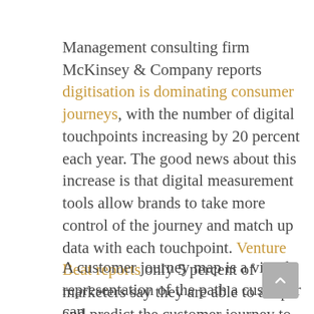Management consulting firm McKinsey & Company reports digitisation is dominating consumer journeys, with the number of digital touchpoints increasing by 20 percent each year. The good news about this increase is that digital measurement tools allow brands to take more control of the journey and match up data with each touchpoint. Venture Beat reports only 5 percent of marketers say they are able to adapt and predict the customer journey to improve actions for better customer experiences. Here's where customer journey mapping can help.
A customer journey map is a visual representation of the path a customer can